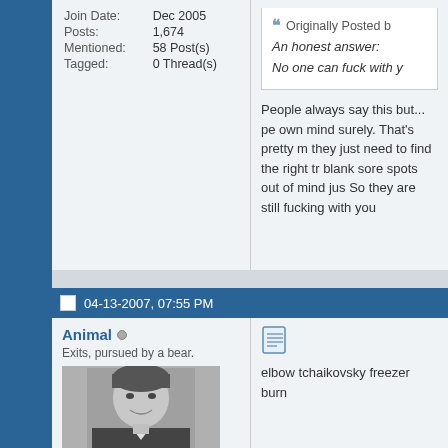| Join Date: | Dec 2005 |
| Posts: | 1,674 |
| Mentioned: | 58 Post(s) |
| Tagged: | 0 Thread(s) |
Originally Posted by
An honest answer:

No one can fuck with y
People always say this but... pe own mind surely. That's pretty m they just need to find the right tr blank sore spots out of mind jus So they are still fucking with you
04-13-2007, 07:55 PM
Animal
Exits, pursued by a bear.
[Figure (photo): Black and white photo of a young man in a suit, smiling slightly]
elbow tchaikovsky freezer burn